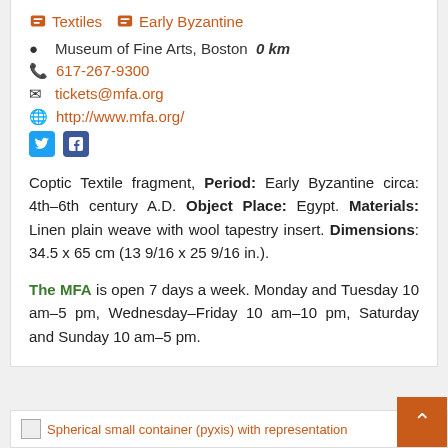Textiles   Early Byzantine
Museum of Fine Arts, Boston   0 km
617-267-9300
tickets@mfa.org
http://www.mfa.org/
Coptic Textile fragment, Period: Early Byzantine circa: 4th–6th century A.D. Object Place: Egypt. Materials: Linen plain weave with wool tapestry insert. Dimensions: 34.5 x 65 cm (13 9/16 x 25 9/16 in.).
The MFA is open 7 days a week. Monday and Tuesday 10 am–5 pm, Wednesday–Friday 10 am–10 pm, Saturday and Sunday 10 am–5 pm.
Spherical small container (pyxis) with representation